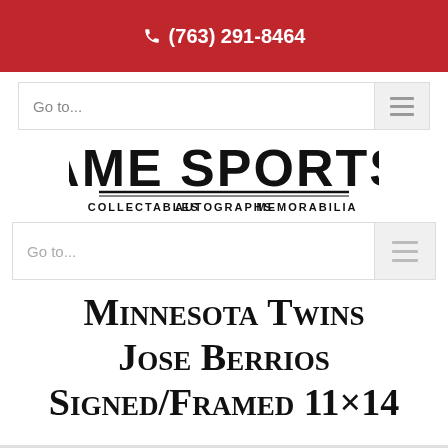☎ (763) 291-8464
[Figure (logo): AME Sports logo with text: COLLECTABLES  AUTOGRAPHS  MEMORABILIA]
Minnesota Twins Jose Berrios Signed/Framed 11×14